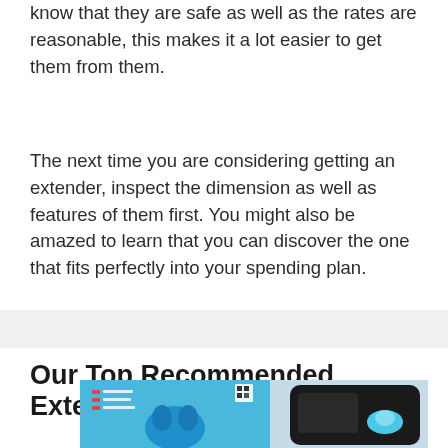know that they are safe as well as the rates are reasonable, this makes it a lot easier to get them from them.
The next time you are considering getting an extender, inspect the dimension as well as features of them first. You might also be amazed to learn that you can discover the one that fits perfectly into your spending plan.
Our Top Recommended Extender
[Figure (photo): Product image showing a WiFi extender box and device on a light blue/grey background]